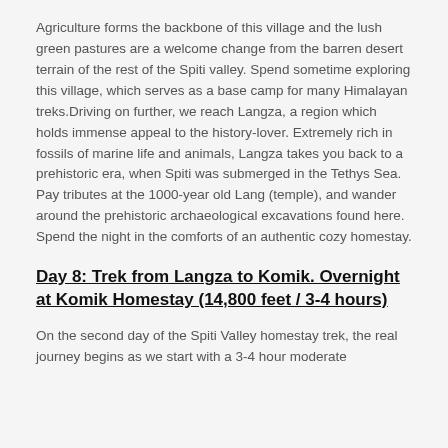Agriculture forms the backbone of this village and the lush green pastures are a welcome change from the barren desert terrain of the rest of the Spiti valley. Spend sometime exploring this village, which serves as a base camp for many Himalayan treks.Driving on further, we reach Langza, a region which holds immense appeal to the history-lover. Extremely rich in fossils of marine life and animals, Langza takes you back to a prehistoric era, when Spiti was submerged in the Tethys Sea. Pay tributes at the 1000-year old Lang (temple), and wander around the prehistoric archaeological excavations found here. Spend the night in the comforts of an authentic cozy homestay.
Day 8: Trek from Langza to Komik. Overnight at Komik Homestay (14,800 feet / 3-4 hours)
On the second day of the Spiti Valley homestay trek, the real journey begins as we start with a 3-4 hour moderate